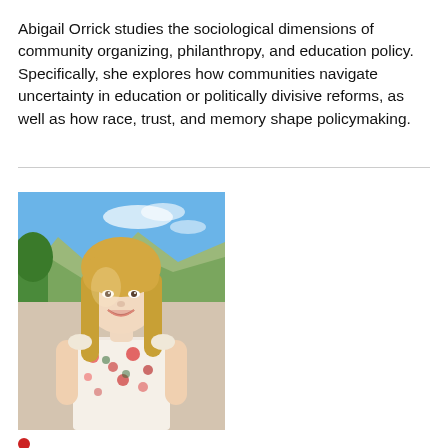Abigail Orrick studies the sociological dimensions of community organizing, philanthropy, and education policy. Specifically, she explores how communities navigate uncertainty in education or politically divisive reforms, as well as how race, trust, and memory shape policymaking.
[Figure (photo): Portrait photo of Abigail Orrick, a smiling blonde woman wearing a floral sleeveless top, outdoors with trees and mountain scenery in the background.]